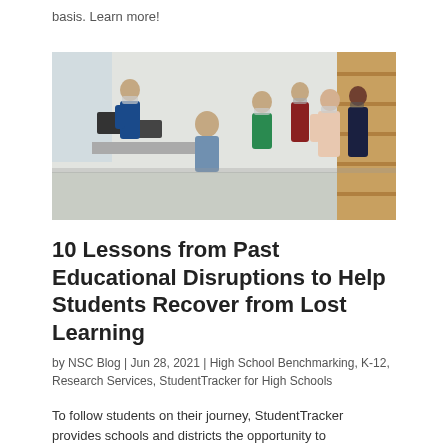basis. Learn more!
[Figure (photo): Group of people in an office meeting space wearing masks, gathered around desks with computers, with a woman standing and presenting near wooden shelving.]
10 Lessons from Past Educational Disruptions to Help Students Recover from Lost Learning
by NSC Blog | Jun 28, 2021 | High School Benchmarking, K-12, Research Services, StudentTracker for High Schools
To follow students on their journey, StudentTracker provides schools and districts the opportunity to